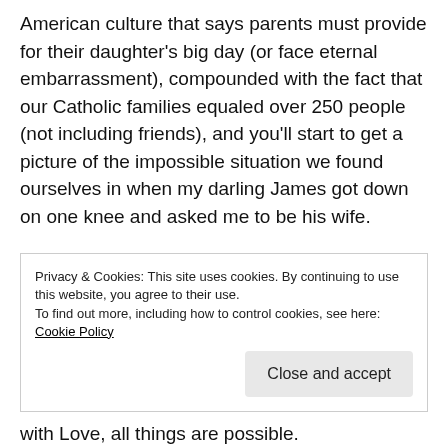American culture that says parents must provide for their daughter's big day (or face eternal embarrassment), compounded with the fact that our Catholic families equaled over 250 people (not including friends), and you'll start to get a picture of the impossible situation we found ourselves in when my darling James got down on one knee and asked me to be his wife.
I didn't think I could have one of those dream weddings. My parents had just sold our home at short sale and we were living with my
Privacy & Cookies: This site uses cookies. By continuing to use this website, you agree to their use.
To find out more, including how to control cookies, see here: Cookie Policy
with Love, all things are possible.